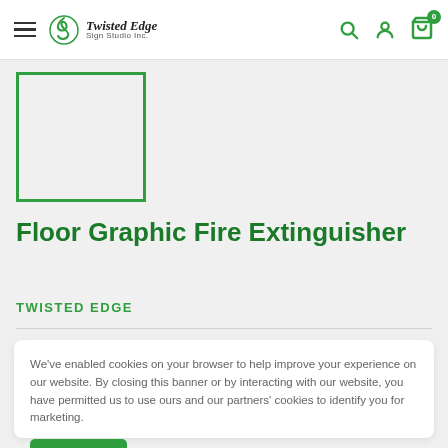Twisted Edge Sign Studio Inc. — Navigation header with logo, search, account, and cart icons
[Figure (other): Product image placeholder — white square with green border]
Floor Graphic Fire Extinguisher
TWISTED EDGE
We've enabled cookies on your browser to help improve your experience on our website. By closing this banner or by interacting with our website, you have permitted us to use ours and our partners' cookies to identify you for marketing.
Accept